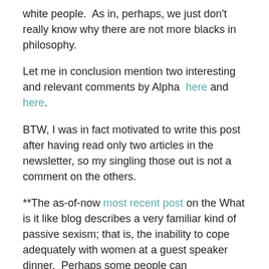white people.  As in, perhaps, we just don't really know why there are not more blacks in philosophy.
Let me in conclusion mention two interesting and relevant comments by Alpha  here and here.
BTW, I was in fact motivated to write this post after having read only two articles in the newsletter, so my singling those out is not a comment on the others.
**The as-of-now most recent post on the What is it like blog describes a very familiar kind of passive sexism; that is, the inability to cope adequately with women at a guest speaker dinner.  Perhaps some people can congratulate themselves on not having so failed, but on the other hand, do consider what it is like to be in the middle of a social problem like